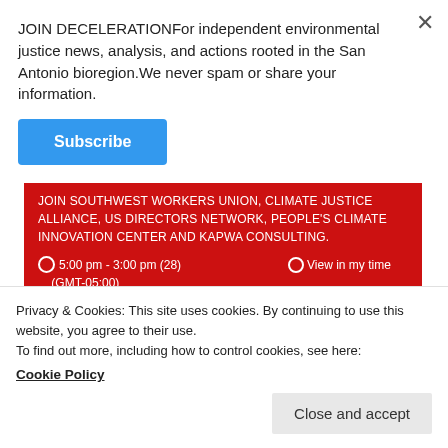JOIN DECELERATIONFor independent environmental justice news, analysis, and actions rooted in the San Antonio bioregion.We never spam or share your information.
Subscribe
JUST TRANSITION SUMMIT
JOIN SOUTHWEST WORKERS UNION, CLIMATE JUSTICE ALLIANCE, US DIRECTORS NETWORK, PEOPLE'S CLIMATE INNOVATION CENTER AND KAPWA CONSULTING.
5:00 pm - 3:00 pm (28) (GMT-05:00)
View in my time
Privacy & Cookies: This site uses cookies. By continuing to use this website, you agree to their use.
To find out more, including how to control cookies, see here:
Cookie Policy
Close and accept
6:00 pm - 7:00 pm (GMT-05:00)
view in my time